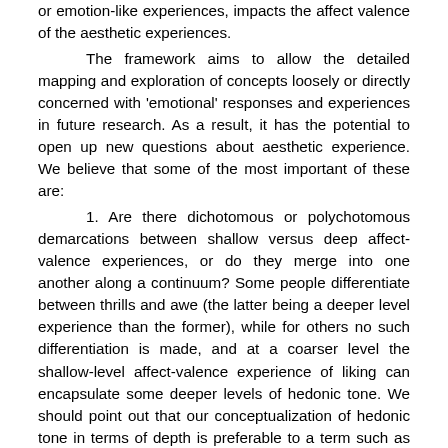or emotion-like experiences, impacts the affect valence of the aesthetic experiences.
The framework aims to allow the detailed mapping and exploration of concepts loosely or directly concerned with 'emotional' responses and experiences in future research. As a result, it has the potential to open up new questions about aesthetic experience. We believe that some of the most important of these are:
1. Are there dichotomous or polychotomous demarcations between shallow versus deep affect-valence experiences, or do they merge into one another along a continuum? Some people differentiate between thrills and awe (the latter being a deeper level experience than the former), while for others no such differentiation is made, and at a coarser level the shallow-level affect-valence experience of liking can encapsulate some deeper levels of hedonic tone. We should point out that our conceptualization of hedonic tone in terms of depth is preferable to a term such as 'intensity' or 'magnitude', because those terms can then be reserved for the psychometric study of individual qualities, for example the level or magnitude of liking for something, as is frequently done in empirical aesthetics research. But the question of categories or continuum brings to our